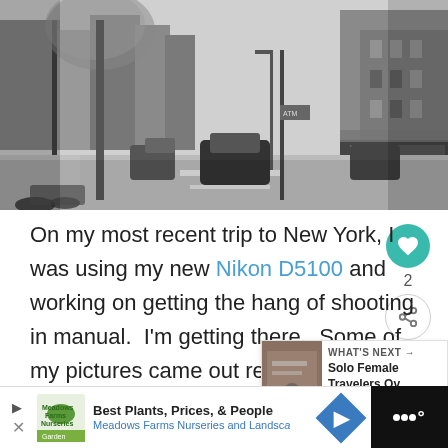[Figure (photo): Black and white street photograph of a New York City urban street scene with buildings, cars, trees, and storefronts including an ATM sign. Taken from street level looking down the block.]
On my most recent trip to New York, I was using my new Nikon D5100 and working on getting the hang of shooting in manual.  I'm getting there.  Some of my pictures came out really nice, and I'm starting to recognize where I need to improve my work.
[Figure (infographic): What's Next widget showing a thumbnail and text: 'Solo Female Travelers Ov...']
[Figure (infographic): Advertisement bar: Best Plants, Prices, & People - Meadows Farms Nurseries and Landscape. Right side is dark background with audio/media icon dots.]